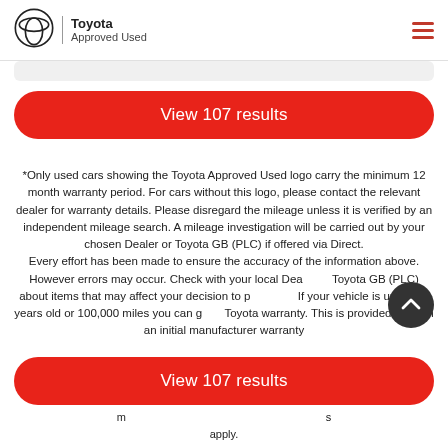Toyota Approved Used
View 107 results
*Only used cars showing the Toyota Approved Used logo carry the minimum 12 month warranty period. For cars without this logo, please contact the relevant dealer for warranty details. Please disregard the mileage unless it is verified by an independent mileage search. A mileage investigation will be carried out by your chosen Dealer or Toyota GB (PLC) if offered via Direct. Every effort has been made to ensure the accuracy of the information above. However errors may occur. Check with your local Dealer or Toyota GB (PLC) about items that may affect your decision to purchase. If your vehicle is under 10 years old or 100,000 miles you can get a Toyota warranty. This is provided through an initial manufacturer warranty ... apply.
View 107 results